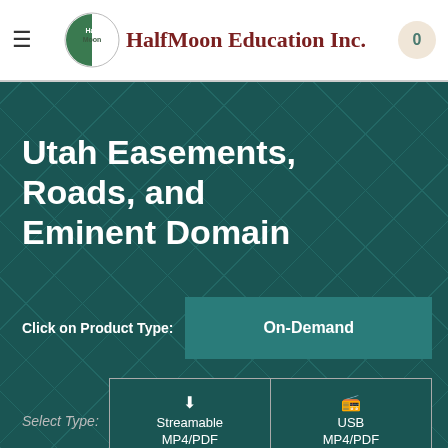HalfMoon Education Inc.
Utah Easements, Roads, and Eminent Domain
Click on Product Type: On-Demand
Select Type: Streamable MP4/PDF | USB MP4/PDF
Wednesday, June 29, 2022